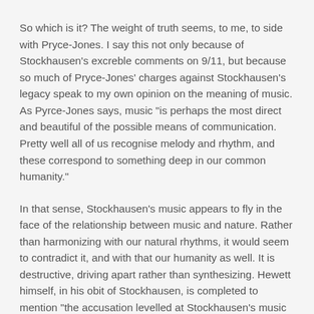So which is it? The weight of truth seems, to me, to side with Pryce-Jones. I say this not only because of Stockhausen's excreble comments on 9/11, but because so much of Pryce-Jones' charges against Stockhausen's legacy speak to my own opinion on the meaning of music. As Pyrce-Jones says, music "is perhaps the most direct and beautiful of the possible means of communication. Pretty well all of us recognise melody and rhythm, and these correspond to something deep in our common humanity."
In that sense, Stockhausen's music appears to fly in the face of the relationship between music and nature. Rather than harmonizing with our natural rhythms, it would seem to contradict it, and with that our humanity as well. It is destructive, driving apart rather than synthesizing. Hewett himself, in his obit of Stockhausen, is completed to mention "the accusation levelled at Stockhausen's music as a whole, that the vast ideas it contains often sound chaotic or merely ugly."